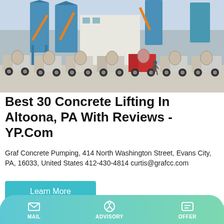[Figure (photo): Row of concrete mixer trucks parked in front of a large industrial concrete batching plant with blue silos and white buildings. Winter/industrial setting.]
Best 30 Concrete Lifting In Altoona, PA With Reviews - YP.Com
Graf Concrete Pumping, 414 North Washington Street, Evans City, PA, 16033, United States 412-430-4814 curtis@grafcc.com
Learn More
[Figure (photo): Partial view of concrete plant equipment with blue silo and crane boom against cloudy blue sky.]
MAIL   ADVISORY   OFFER